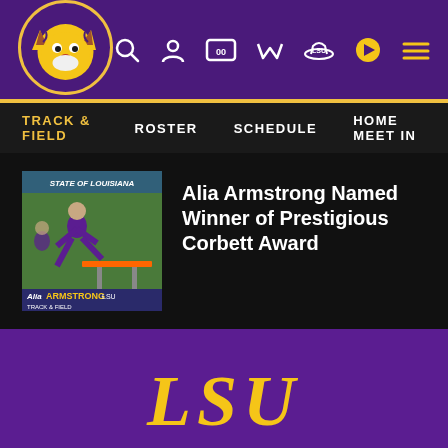[Figure (logo): LSU Tigers logo - purple circle with tiger face in gold and white]
[Figure (infographic): Navigation icons: search, user, scoreboard, wishlist, hat, play, menu (hamburger) on purple background]
TRACK & FIELD   ROSTER   SCHEDULE   HOME MEET IN
[Figure (photo): Alia Armstrong hurdling in LSU purple uniform, with text overlay 'Alia ARMSTRONG LSU TRACK & FIELD']
Alia Armstrong Named Winner of Prestigious Corbett Award
[Figure (logo): LSU gold italic wordmark on purple background]
THE OFFICIAL SITE OF LSU ATHLETICS
[Figure (logo): Partial logos: NATA and SEC logos at bottom of page]